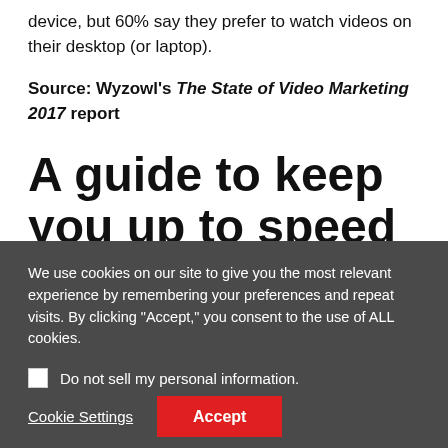device, but 60% say they prefer to watch videos on their desktop (or laptop).
Source: Wyzowl's The State of Video Marketing 2017 report
A guide to keep you up to speed
What video format does Facebook prefer? What's the
We use cookies on our site to give you the most relevant experience by remembering your preferences and repeat visits. By clicking "Accept," you consent to the use of ALL cookies.
Do not sell my personal information.
Cookie Settings
Accept